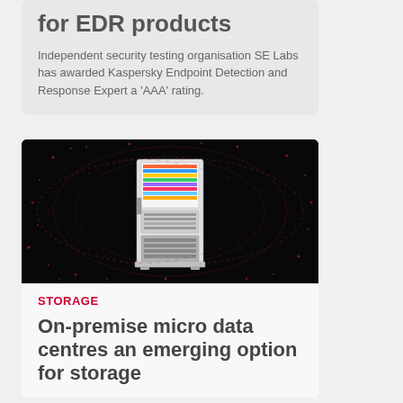for EDR products
Independent security testing organisation SE Labs has awarded Kaspersky Endpoint Detection and Response Expert a 'AAA' rating.
[Figure (photo): Server rack / micro data centre on a dark background with pink swirling light effects]
STORAGE
On-premise micro data centres an emerging option for storage